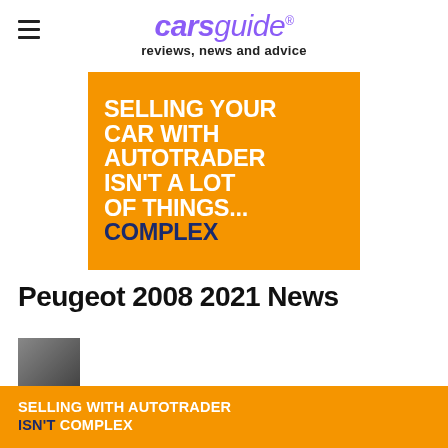carsguide® reviews, news and advice
[Figure (infographic): Orange advertisement banner: 'SELLING YOUR CAR WITH AUTOTRADER ISN'T A LOT OF THINGS... COMPLEX' with white and navy text on orange background]
Peugeot 2008 2021 News
[Figure (infographic): Bottom orange banner ad: 'SELLING WITH AUTOTRADER ISN'T COMPLEX' with white and navy text]
[Figure (photo): Small article thumbnail photo at bottom left]